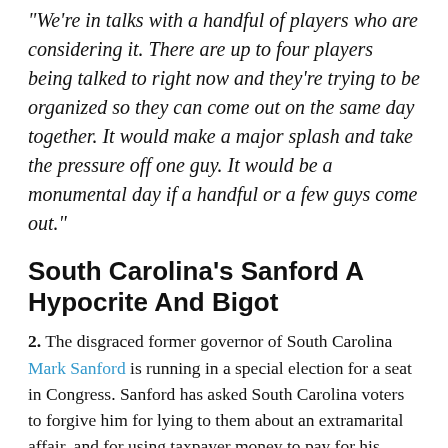"We're in talks with a handful of players who are considering it. There are up to four players being talked to right now and they're trying to be organized so they can come out on the same day together. It would make a major splash and take the pressure off one guy. It would be a monumental day if a handful or a few guys come out."
South Carolina's Sanford A Hypocrite And Bigot
2. The disgraced former governor of South Carolina Mark Sanford is running in a special election for a seat in Congress. Sanford has asked South Carolina voters to forgive him for lying to them about an extramarital affair, and for using taxpayer money to pay for his international travel to visit his mistress. Lucas Grindley wrote about the former governor's hypocrisy for the